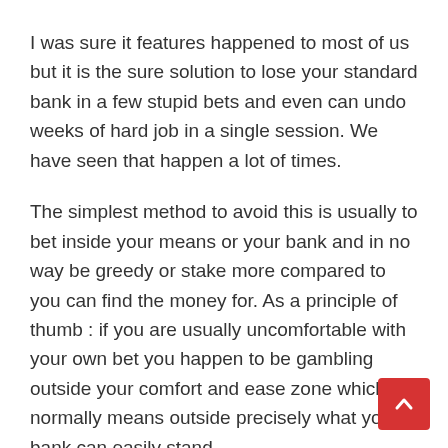I was sure it features happened to most of us but it is the sure solution to lose your standard bank in a few stupid bets and even can undo weeks of hard job in a single session. We have seen that happen a lot of times.
The simplest method to avoid this is usually to bet inside your means or your bank and in no way be greedy or stake more compared to you can find the money for. As a principle of thumb : if you are usually uncomfortable with your own bet you happen to be gambling outside your comfort and ease zone which normally means outside precisely what your bank can easily stand.